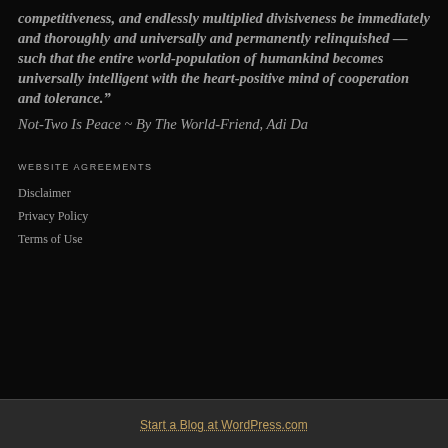competitiveness, and endlessly multiplied divisiveness be immediately and thoroughly and universally and permanently relinquished — such that the entire world-population of humankind becomes universally intelligent with the heart-positive mind of cooperation and tolerance."
Not-Two Is Peace ~ By The World-Friend, Adi Da
WEBSITE AGREEMENTS
Disclaimer
Privacy Policy
Terms of Use
Start a Blog at WordPress.com